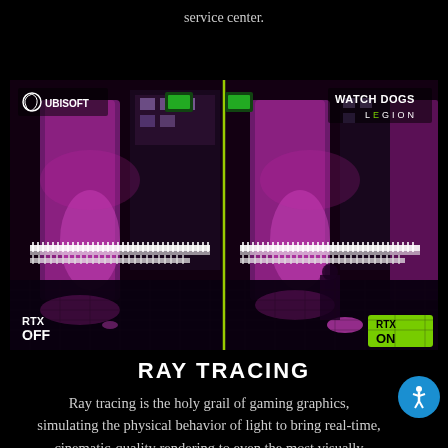service center.
[Figure (screenshot): Watch Dogs Legion RTX ON vs RTX OFF comparison screenshot. Left half shows RTX OFF with Ubisoft logo, right half shows RTX ON with Watch Dogs Legion logo. Both halves show a dark urban nighttime scene with pink/magenta neon lighting, brick buildings, and reflective wet pavement. A yellow-green vertical line divides the two halves. Bottom left shows 'RTX OFF' text, bottom right shows 'RTX ON' in a green NVIDIA-style badge.]
RAY TRACING
Ray tracing is the holy grail of gaming graphics, simulating the physical behavior of light to bring real-time, cinematic-quality rendering to even the most visually